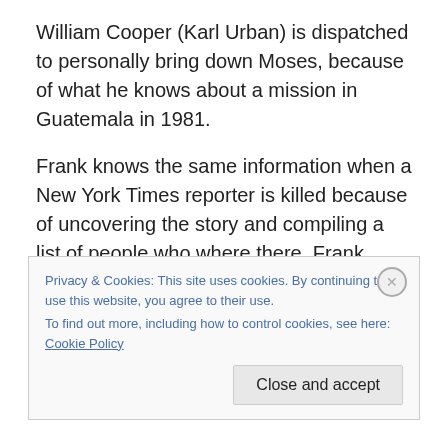William Cooper (Karl Urban) is dispatched to personally bring down Moses, because of what he knows about a mission in Guatemala in 1981.
Frank knows the same information when a New York Times reporter is killed because of uncovering the story and compiling a list of people who where there. Frank seeks the advice of fellow Joe (Morgan Freeman), who is in a rest home in New Orléans to find out who is still alive and find out why the CIA is coming after old operatives in their retirement.
Privacy & Cookies: This site uses cookies. By continuing to use this website, you agree to their use.
To find out more, including how to control cookies, see here: Cookie Policy
Close and accept